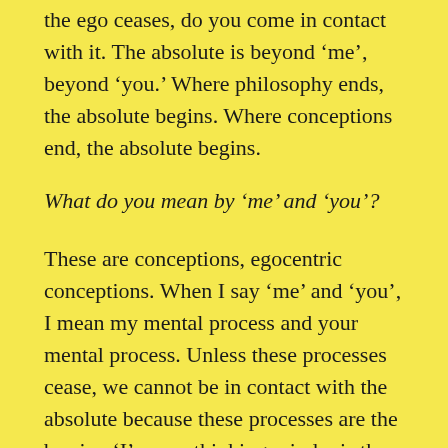the ego ceases, do you come in contact with it. The absolute is beyond ‘me’, beyond ‘you.’ Where philosophy ends, the absolute begins. Where conceptions end, the absolute begins.
What do you mean by ‘me’ and ‘you’?
These are conceptions, egocentric conceptions. When I say ‘me’ and ‘you’, I mean my mental process and your mental process. Unless these processes cease, we cannot be in contact with the absolute because these processes are the barrier. ‘I’ – as a thinking mind – is the barrier. But if I think of ‘I’ as an existential living unit and not as a thinking mind, then there is no barrier. Then there is no ‘I’ and ‘you’; then the